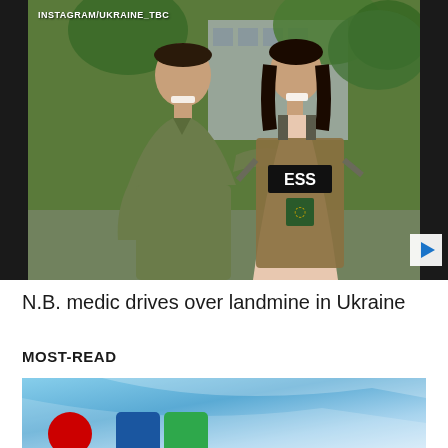[Figure (photo): Two people posing together outdoors. Left: a man in olive/khaki polo shirt with sunglasses on his head, smiling. Right: a woman smiling, wearing a press vest labeled 'ESS' (PRESS). Background shows trees and a building. Instagram watermark reads 'INSTAGRAM/UKRAINE_TBC'. A video play button is visible at bottom right.]
N.B. medic drives over landmine in Ukraine
MOST-READ
[Figure (screenshot): Partial bottom image showing a blue sky/gradient background with colorful logo elements (red circle, blue rectangle, green rectangle) visible at the bottom — appears to be the top of a news broadcast screenshot.]